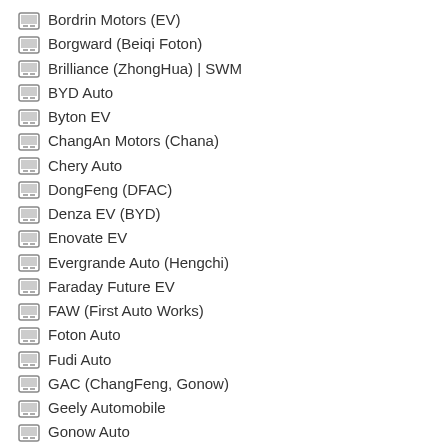Bordrin Motors (EV)
Borgward (Beiqi Foton)
Brilliance (ZhongHua) | SWM
BYD Auto
Byton EV
ChangAn Motors (Chana)
Chery Auto
DongFeng (DFAC)
Denza EV (BYD)
Enovate EV
Evergrande Auto (Hengchi)
Faraday Future EV
FAW (First Auto Works)
Foton Auto
Fudi Auto
GAC (ChangFeng, Gonow)
Geely Automobile
Gonow Auto